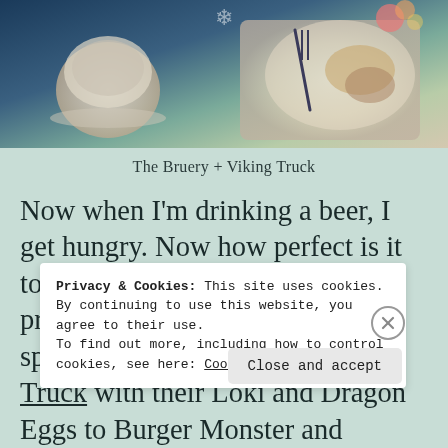[Figure (photo): Photo of food and drinks on a blue surface, showing a coffee/latte cup on the left and a plate with food and a fork on the right]
The Bruery + Viking Truck
Now when I'm drinking a beer, I get hungry. Now how perfect is it to have a food truck outside prepared to serve you their specialty; you've got The Viking Truck with their Loki and Dragon Eggs to Burger Monster and
Privacy & Cookies: This site uses cookies. By continuing to use this website, you agree to their use.
To find out more, including how to control cookies, see here: Cookie Policy
Close and accept